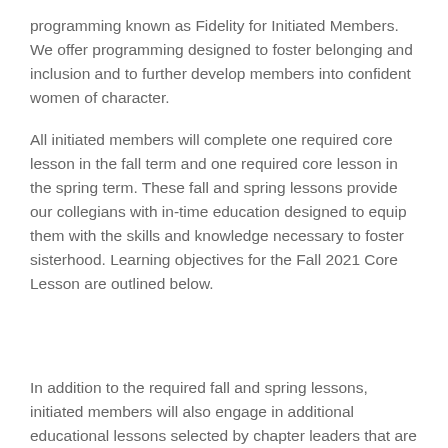programming known as Fidelity for Initiated Members. We offer programming designed to foster belonging and inclusion and to further develop members into confident women of character.
All initiated members will complete one required core lesson in the fall term and one required core lesson in the spring term. These fall and spring lessons provide our collegians with in-time education designed to equip them with the skills and knowledge necessary to foster sisterhood. Learning objectives for the Fall 2021 Core Lesson are outlined below.
In addition to the required fall and spring lessons, initiated members will also engage in additional educational lessons selected by chapter leaders that are